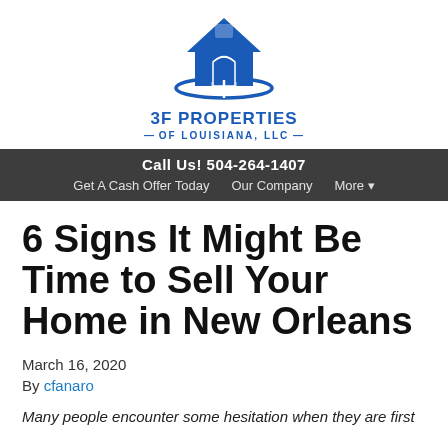[Figure (logo): 3F Properties of Louisiana LLC house logo in blue with a house icon and swoosh underneath]
Call Us! 504-264-1407
Get A Cash Offer Today   Our Company   More
6 Signs It Might Be Time to Sell Your Home in New Orleans
March 16, 2020
By cfanaro
Many people encounter some hesitation when they are first